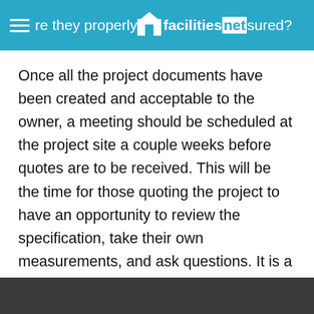are they properly insured? — facilitiesnet
Once all the project documents have been created and acceptable to the owner, a meeting should be scheduled at the project site a couple weeks before quotes are to be received. This will be the time for those quoting the project to have an opportunity to review the specification, take their own measurements, and ask questions. It is a good idea to make this meeting mandatory for those competing for the project award.